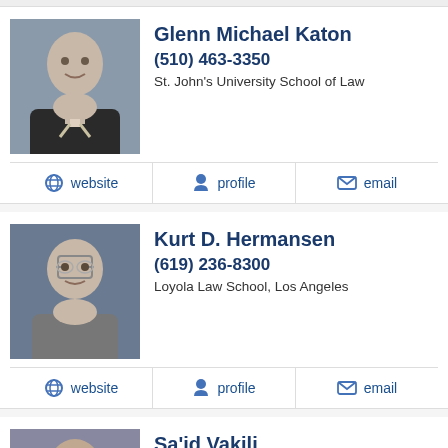[Figure (photo): Headshot of Glenn Michael Katon, a man in a dark suit]
Glenn Michael Katon
(510) 463-3350
St. John's University School of Law
website   profile   email
[Figure (photo): Headshot of Kurt D. Hermansen, a man with glasses in a gray suit]
Kurt D. Hermansen
(619) 236-8300
Loyola Law School, Los Angeles
website   profile   email
[Figure (photo): Headshot of Sa'id Vakili]
Sa'id Vakili
(800) 260-7105
Touro College Jacob D. Fuchsberg Law Center